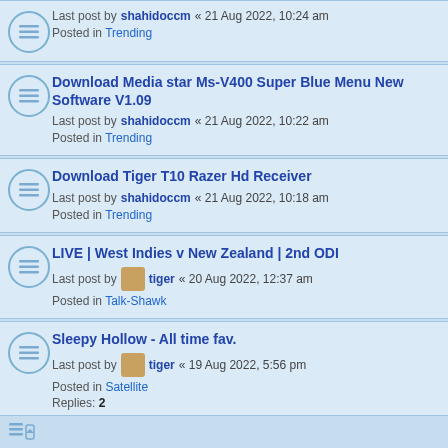Last post by shahidoccm « 21 Aug 2022, 10:24 am
Posted in Trending
Download Media star Ms-V400 Super Blue Menu New Software V1.09
Last post by shahidoccm « 21 Aug 2022, 10:22 am
Posted in Trending
Download Tiger T10 Razer Hd Receiver
Last post by shahidoccm « 21 Aug 2022, 10:18 am
Posted in Trending
LIVE | West Indies v New Zealand | 2nd ODI
Last post by tiger « 20 Aug 2022, 12:37 am
Posted in Talk-Shawk
Sleepy Hollow - All time fav.
Last post by tiger « 19 Aug 2022, 5:56 pm
Posted in Satellite
Replies: 2
D2H
Last post by awan71 « 18 Aug 2022, 5:26 pm
Posted in Satellite
Replies: 7